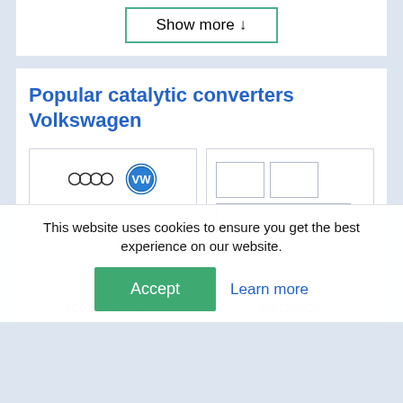[Figure (other): Show more button with down arrow, outlined in teal/green border]
Popular catalytic converters Volkswagen
[Figure (other): Product card left: Audi rings logo and Volkswagen VW circular logo on white card]
[Figure (other): Product card right: placeholder rectangle boxes on white card]
3C013175H (DPF)
645178ACB
This website uses cookies to ensure you get the best experience on our website.
Accept
Learn more